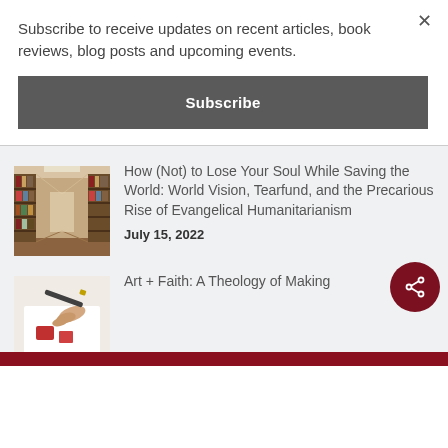Subscribe to receive updates on recent articles, book reviews, blog posts and upcoming events.
Subscribe
How (Not) to Lose Your Soul While Saving the World: World Vision, Tearfund, and the Precarious Rise of Evangelical Humanitarianism
July 15, 2022
[Figure (photo): A library hallway with bookshelves on either side, warm sepia tones]
Art + Faith: A Theology of Making
[Figure (photo): A hand drawing or painting with art supplies visible, close-up view]
[Figure (other): Dark red circular share button with share icon]